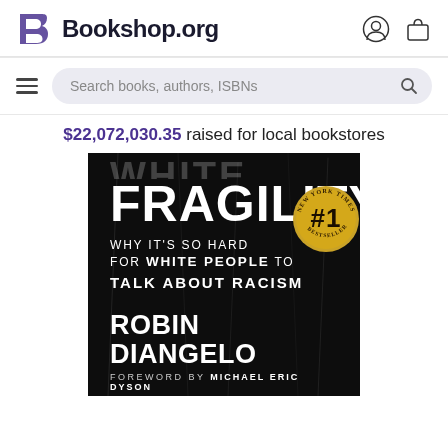[Figure (logo): Bookshop.org logo with stylized B and site name, plus user account and cart icons]
Search books, authors, ISBNs
$22,072,030.35 raised for local bookstores
[Figure (photo): Book cover of White Fragility by Robin DiAngelo. Black background with large white distressed text reading FRAGILITY, subtitle WHY IT'S SO HARD FOR WHITE PEOPLE TO TALK ABOUT RACISM, New York Times #1 Bestseller badge, author ROBIN DIANGELO, FOREWORD BY MICHAEL ERIC DYSON]